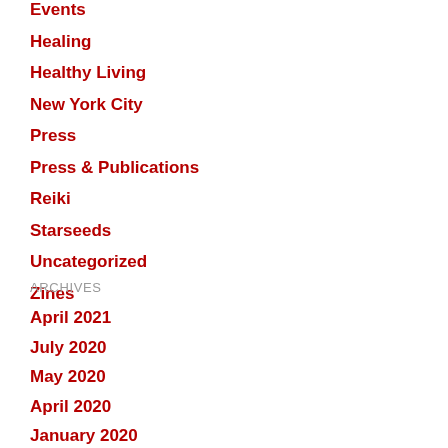Events
Healing
Healthy Living
New York City
Press
Press & Publications
Reiki
Starseeds
Uncategorized
Zines
ARCHIVES
April 2021
July 2020
May 2020
April 2020
January 2020